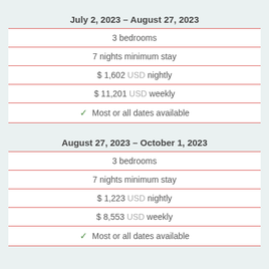July 2, 2023 – August 27, 2023
| 3 bedrooms |
| 7 nights minimum stay |
| $ 1,602 USD nightly |
| $ 11,201 USD weekly |
| ✓ Most or all dates available |
August 27, 2023 – October 1, 2023
| 3 bedrooms |
| 7 nights minimum stay |
| $ 1,223 USD nightly |
| $ 8,553 USD weekly |
| ✓ Most or all dates available |